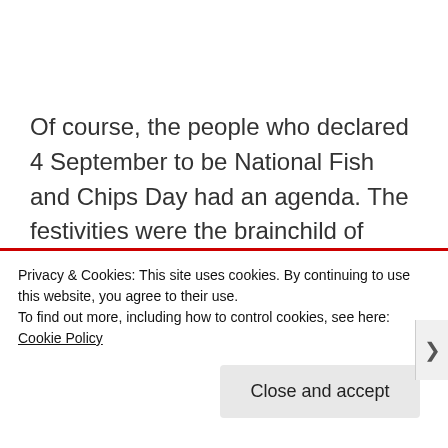Of course, the people who declared 4 September to be National Fish and Chips Day had an agenda. The festivities were the brainchild of NEODA. Never heard of them? Neither had I, but a quick trawl on the internet reveals NEODA to be the National Edible Oil Distributors Association, a trade organisation
Privacy & Cookies: This site uses cookies. By continuing to use this website, you agree to their use.
To find out more, including how to control cookies, see here: Cookie Policy
Close and accept